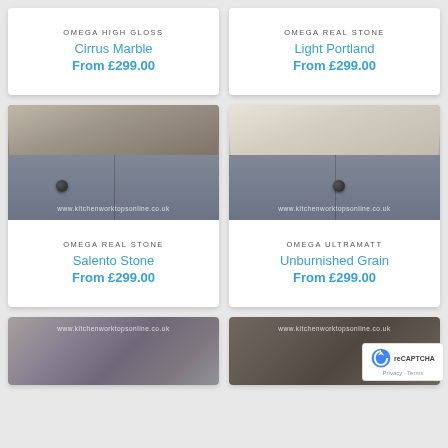OMEGA HIGH GLOSS
Cirrus Marble
From £299.00
OMEGA REAL STONE
Light Portland
From £299.00
[Figure (photo): Close-up of Salento Stone worktop corner with grey cabinet and black knob. Watermark: www.kitchenworktopsonline.co.uk]
OMEGA REAL STONE
Salento Stone
From £299.00
[Figure (photo): Close-up of Unburnished Grain worktop corner with grey cabinet and black knob. Watermark: www.kitchenworktopsonline.co.uk]
OMEGA ULTRAMATT
Unburnished Grain
From £299.00
[Figure (photo): Partial view of grey marble worktop. Watermark: www.kitchenworktopsonline.co.uk]
[Figure (photo): Partial view of dark brown marble worktop. Watermark: www.kitchenworktopsonline.co.uk]